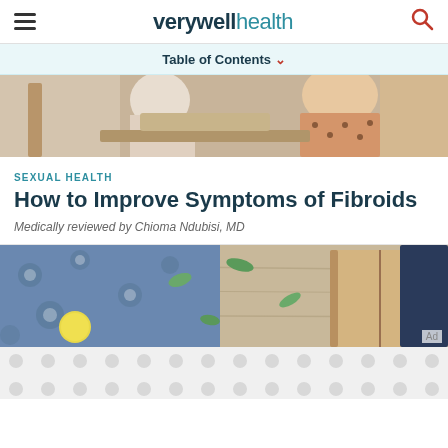verywell health
Table of Contents
[Figure (photo): Doctor and patient in consultation, woman in polka dot dress visible]
SEXUAL HEALTH
How to Improve Symptoms of Fibroids
Medically reviewed by Chioma Ndubisi, MD
[Figure (photo): Flat lay of blue floral fabric, green leaves, a lemon and a notebook on wooden surface]
Ad